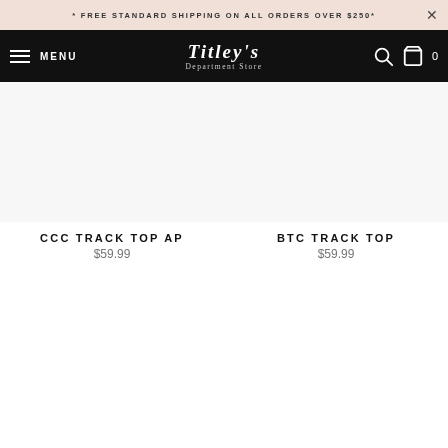* FREE STANDARD SHIPPING ON ALL ORDERS OVER $250*
TITLEY'S Department Store MENU 0
CCC TRACK TOP AP $59.99
BTC TRACK TOP $59.99